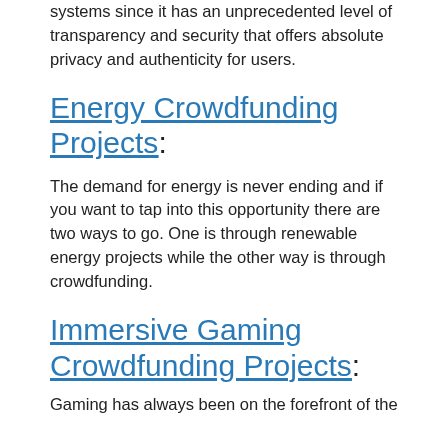systems since it has an unprecedented level of transparency and security that offers absolute privacy and authenticity for users.
Energy Crowdfunding Projects:
The demand for energy is never ending and if you want to tap into this opportunity there are two ways to go. One is through renewable energy projects while the other way is through crowdfunding.
Immersive Gaming Crowdfunding Projects:
Gaming has always been on the forefront of the